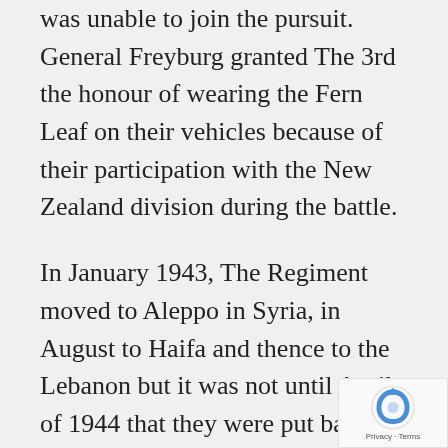was unable to join the pursuit. General Freyburg granted The 3rd the honour of wearing the Fern Leaf on their vehicles because of their participation with the New Zealand division during the battle.
In January 1943, The Regiment moved to Aleppo in Syria, in August to Haifa and thence to the Lebanon but it was not until April of 1944 that they were put back into action pushing the Germans out of Italy. In June and July The 3rd led the advance of The 78th Division up Italy reaching Citta del Piave and fighting then at Ripa, Montone, Cita de Castello and Pistrino in the Tibe...